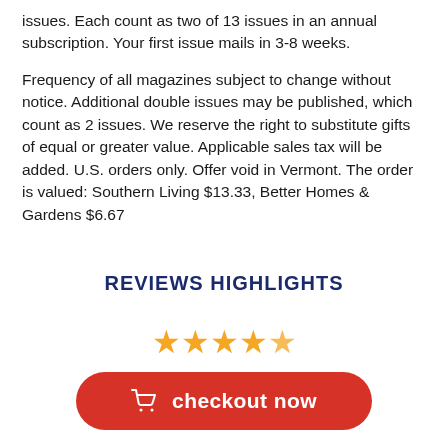issues. Each count as two of 13 issues in an annual subscription. Your first issue mails in 3-8 weeks.

Frequency of all magazines subject to change without notice. Additional double issues may be published, which count as 2 issues. We reserve the right to substitute gifts of equal or greater value. Applicable sales tax will be added. U.S. orders only. Offer void in Vermont. The order is valued: Southern Living $13.33, Better Homes & Gardens $6.67
REVIEWS HIGHLIGHTS
[Figure (other): Five gold star rating icons]